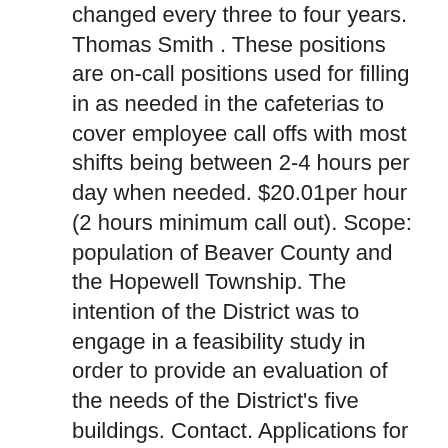changed every three to four years. Thomas Smith . These positions are on-call positions used for filling in as needed in the cafeterias to cover employee call offs with most shifts being between 2-4 hours per day when needed. $20.01per hour (2 hours minimum call out). Scope: population of Beaver County and the Hopewell Township. The intention of the District was to engage in a feasibility study in order to provide an evaluation of the needs of the District's five buildings. Contact. Applications for employment must be submitted online.. Interested Applicants should apply at the District's Central Office located at 2354 Brodhead Road (in front of the Jr. High School).